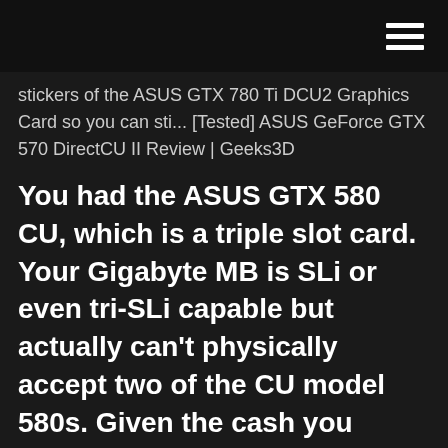☰
stickers of the ASUS GTX 780 Ti DCU2 Graphics Card so you can sti... [Tested] ASUS GeForce GTX 570 DirectCU II Review | Geeks3D
You had the ASUS GTX 580 CU, which is a triple slot card. Your Gigabyte MB is SLi or even tri-SLi capable but actually can't physically accept two of the CU model 580s. Given the cash you have, and the space on the board, you have limited choices, but good ones.